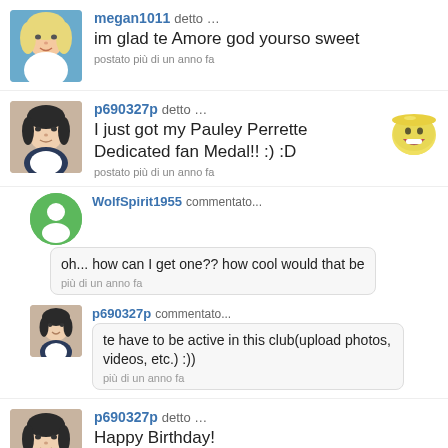megan1011 detto … im glad te Amore god yourso sweet postato più di un anno fa
p690327p detto … I just got my Pauley Perrette Dedicated fan Medal!! :) :D postato più di un anno fa
WolfSpirit1955 commentato... oh... how can I get one?? how cool would that be più di un anno fa
p690327p commentato... te have to be active in this club(upload photos, videos, etc.) :)) più di un anno fa
p690327p detto … Happy Birthday! postato più di un anno fa